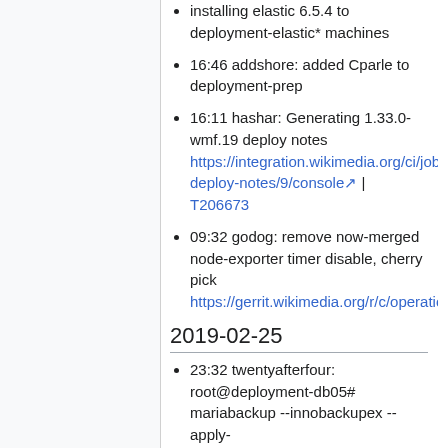installing elastic 6.5.4 to deployment-elastic* machines
16:46 addshore: added Cparle to deployment-prep
16:11 hashar: Generating 1.33.0-wmf.19 deploy notes https://integration.wikimedia.org/ci/job/train-deploy-notes/9/console | T206673
09:32 godog: remove now-merged node-exporter timer disable, cherry pick https://gerrit.wikimedia.org/r/c/operations/puppet/+/492632
2019-02-25
23:32 twentyafterfour: root@deployment-db05# mariabackup --innobackupex --apply-